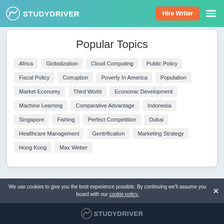STUDYDRIVER — Hire Writer
Popular Topics
Africa
Globalization
Cloud Computing
Public Policy
Fiscal Policy
Corruption
Poverty In America
Population
Market Economy
Third World
Economic Development
Machine Learning
Comparative Advantage
Indonesia
Singapore
Fishing
Perfect Competition
Dubai
Healthcare Management
Gentrification
Marketing Strategy
Hong Kong
Max Weber
We use cookies to give you the best experience possible. By continuing we'll assume you board with our cookie policy.